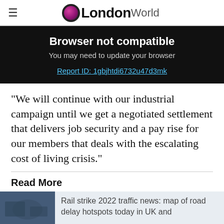≡ OLondonWorld
Browser not compatible
You may need to update your browser
Report ID: 1gbjhtdi6732u47d3mk
"We will continue with our industrial campaign until we get a negotiated settlement that delivers job security and a pay rise for our members that deals with the escalating cost of living crisis."
Read More
Rail strike 2022 traffic news: map of road delay hotspots today in UK and